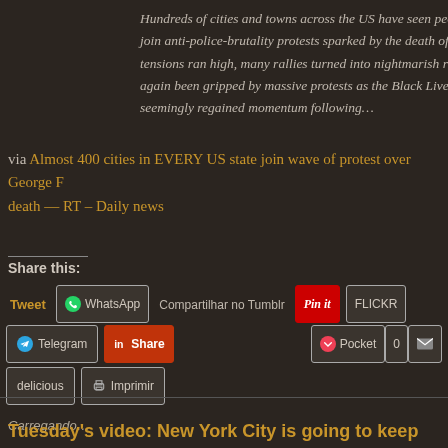Hundreds of cities and towns across the US have seen people hitting the streets to join anti-police-brutality protests sparked by the death of George Floyd. While tensions ran high, many rallies turned into nightmarish riots. America has once again been gripped by massive protests as the Black Lives Matter movement seemingly regained momentum following…
via Almost 400 cities in EVERY US state join wave of protest over George Floyd's death — RT – Daily news
Share this:
Tweet
WhatsApp
Compartilhar no Tumblr
Pin it
FLICKR
Telegram
Share
Pocket 0
delicious
Imprimir
Carregando...
Tuesday's video: New York City is going to keep